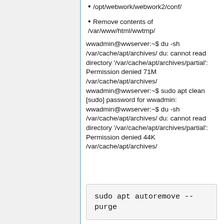/opt/webwork/webwork2/conf/
Remove contents of /var/www/html/wwtmp/
wwadmin@wwserver:~$ du -sh /var/cache/apt/archives/ du: cannot read directory '/var/cache/apt/archives/partial': Permission denied 71M /var/cache/apt/archives/ wwadmin@wwserver:~$ sudo apt clean [sudo] password for wwadmin: wwadmin@wwserver:~$ du -sh /var/cache/apt/archives/ du: cannot read directory '/var/cache/apt/archives/partial': Permission denied 44K /var/cache/apt/archives/
sudo apt autoremove --purge